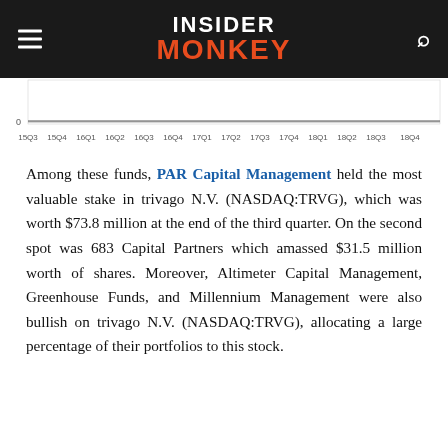INSIDER MONKEY
[Figure (line-chart): Partial line chart showing quarterly time series from 15Q3 to 18Q4, x-axis labels visible, y-axis shows 0 baseline]
Among these funds, PAR Capital Management held the most valuable stake in trivago N.V. (NASDAQ:TRVG), which was worth $73.8 million at the end of the third quarter. On the second spot was 683 Capital Partners which amassed $31.5 million worth of shares. Moreover, Altimeter Capital Management, Greenhouse Funds, and Millennium Management were also bullish on trivago N.V. (NASDAQ:TRVG), allocating a large percentage of their portfolios to this stock.